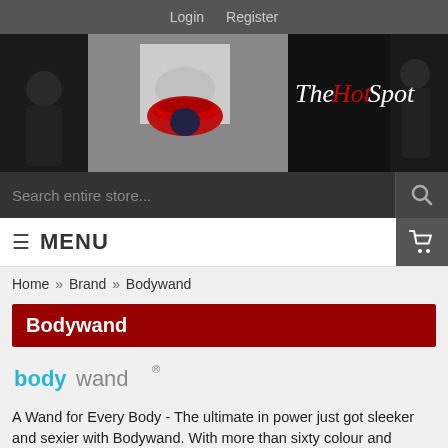Login   Register
[Figure (illustration): The Hot Spot store banner with face image and cursive logo text]
Search entire store...
MENU
Home » Brand » Bodywand
Bodywand
[Figure (logo): Bodywand logo in cyan/blue and grey text]
A Wand for Every Body - The ultimate in power just got sleeker and sexier with Bodywand. With more than sixty colour and design combinations, Bodywand personal massagers are incredibly customizable. Consisting of classic plug-ins and